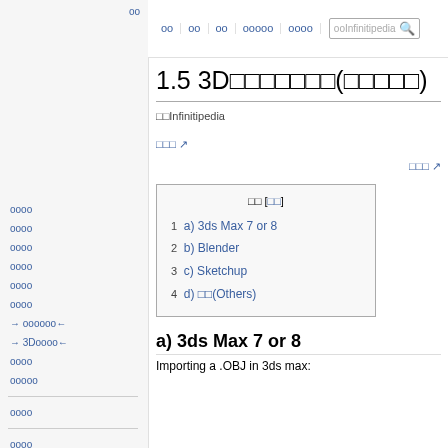oo
oo  oo  oo  ooooo  oooo  [search: ooInfinitipedia]
1.5 3Dooooooo(ooooo)
ooInfinitipedia
ooo ↗
ooo ↗
| oo [oo] |
| 1  a) 3ds Max 7 or 8 |
| 2  b) Blender |
| 3  c) Sketchup |
| 4  d) oo(Others) |
a) 3ds Max 7 or 8
Importing a .OBJ in 3ds max:
oooo
oooo
oooo
oooo
oooo
oooo
→ oooooo←
→ 3Doooo←
oooo
ooooo
oooo
oooo
oo